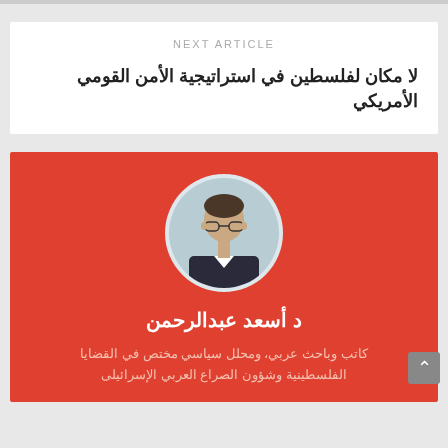NEXT ARTICLE
لا مكان لفلسطين في استراتيجية الأمن القومي الأمريكي
[Figure (photo): Circular portrait photo of Dr. Asad Abdul-Rahman, a middle-aged man wearing glasses and a dark suit, set against a red background]
د  أسعد عبدالرحمن
كاتب وباحث عربي، ومحلل سياسي مختص في القضايا الفلسطينية وشؤون الصراع العربي الإسرائيلى